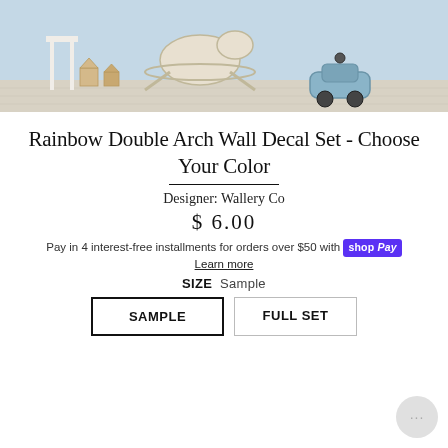[Figure (photo): Product lifestyle photo showing children's wooden toys on a light wooden floor — includes a rocking horse, toy wooden houses, and a blue retro toy car on a light background.]
Rainbow Double Arch Wall Decal Set - Choose Your Color
Designer: Wallery Co
$ 6.00
Pay in 4 interest-free installments for orders over $50 with shop Pay
Learn more
SIZE  Sample
SAMPLE
FULL SET